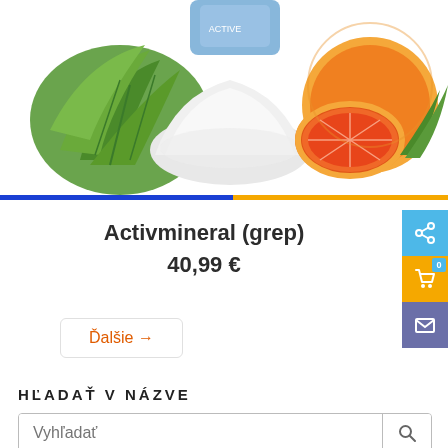[Figure (photo): Product photo showing green herb leaves, white powder, and grapefruit slices on a white background]
Activmineral (grep)
40,99 €
Ďalšie →
HĽADAŤ V NÁZVE
Vyhľadať